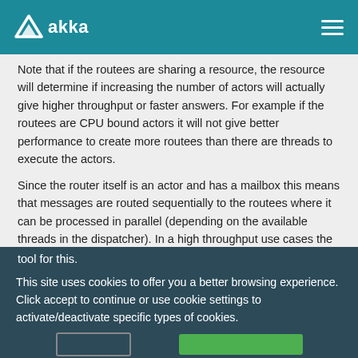akka
Note that if the routees are sharing a resource, the resource will determine if increasing the number of actors will actually give higher throughput or faster answers. For example if the routees are CPU bound actors it will not give better performance to create more routees than there are threads to execute the actors.
Since the router itself is an actor and has a mailbox this means that messages are routed sequentially to the routees where it can be processed in parallel (depending on the available threads in the dispatcher). In a high throughput use cases the sequential routing could be a bottle neck. Akka Typed does not provide an optimized tool for this.
This site uses cookies to offer you a better browsing experience. Click accept to continue or use cookie settings to activate/deactivate specific types of cookies.